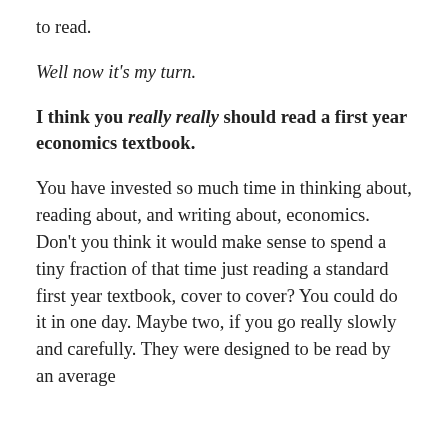to read.
Well now it's my turn.
I think you really really should read a first year economics textbook.
You have invested so much time in thinking about, reading about, and writing about, economics. Don't you think it would make sense to spend a tiny fraction of that time just reading a standard first year textbook, cover to cover? You could do it in one day. Maybe two, if you go really slowly and carefully. They were designed to be read by an average